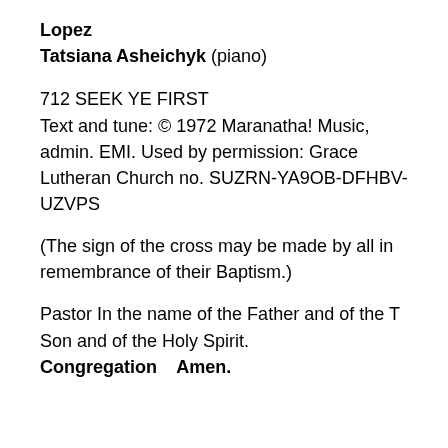Lopez
Tatsiana Asheichyk (piano)
712 SEEK YE FIRST
Text and tune: © 1972 Maranatha! Music, admin. EMI. Used by permission: Grace Lutheran Church no. SUZRN-YA9OB-DFHBV-UZVPS
(The sign of the cross may be made by all in remembrance of their Baptism.)
Pastor In the name of the Father and of the T Son and of the Holy Spirit.
Congregation    Amen.